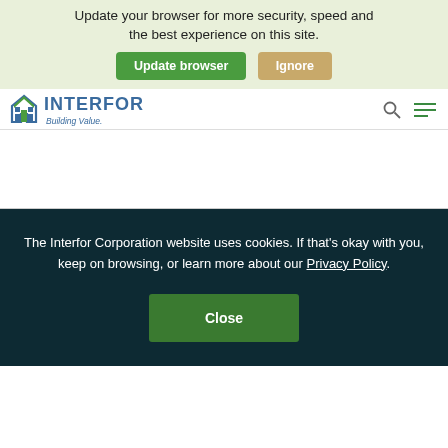Your web browser (IE 11) is out of date. Update your browser for more security, speed and the best experience on this site.
Update browser  Ignore
[Figure (logo): Interfor Corporation logo with building icon and tagline 'Building Value.']
The Interfor Corporation website uses cookies. If that's okay with you, keep on browsing, or learn more about our Privacy Policy.
Close